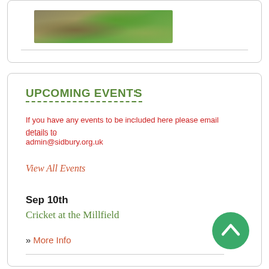[Figure (photo): Partial nature/landscape photo showing rocks and green foliage at top of page]
UPCOMING EVENTS
If you have any events to be included here please email details to admin@sidbury.org.uk
View All Events
Sep 10th
Cricket at the Millfield
» More Info
Sep 10th
Scarecrows
[Figure (other): Green circular scroll-to-top button with upward chevron arrow]